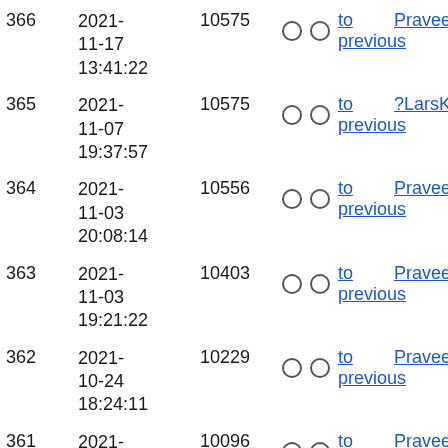| # | Date | Score | Compare | User |
| --- | --- | --- | --- | --- |
| 366 | 2021-11-17 13:41:22 | 10575 | ○ ○ to previous | Praveen A |
| 365 | 2021-11-07 19:37:57 | 10575 | ○ ○ to previous | ?LarsKru |
| 364 | 2021-11-03 20:08:14 | 10556 | ○ ○ to previous | Praveen A |
| 363 | 2021-11-03 19:21:22 | 10403 | ○ ○ to previous | Praveen A |
| 362 | 2021-10-24 18:24:11 | 10229 | ○ ○ to previous | Praveen A |
| 361 | 2021-10-04 20:10:04 | 10096 | ○ ○ to previous | Praveen A |
| 360 | 2021- | 10097 | ○ ○ to | Praveen |